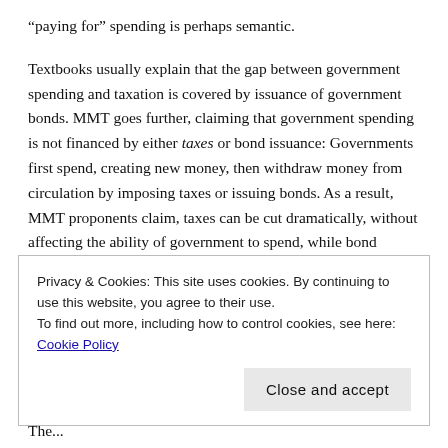“paying for” spending is perhaps semantic.
Textbooks usually explain that the gap between government spending and taxation is covered by issuance of government bonds. MMT goes further, claiming that government spending is not financed by either taxes or bond issuance: Governments first spend, creating new money, then withdraw money from circulation by imposing taxes or issuing bonds. As a result, MMT proponents claim, taxes can be cut dramatically, without affecting the ability of government to spend, while bond issuance can be eliminated entirely.
Does MMT provide a good guide for policy? MMT proponents tend to deny that MMT provides policy proposals. Instead, it is claimed, MMT is a “lens” through which one comprehends the true nature of the
Privacy & Cookies: This site uses cookies. By continuing to use this website, you agree to their use.
To find out more, including how to control cookies, see here: Cookie Policy
Close and accept
The...